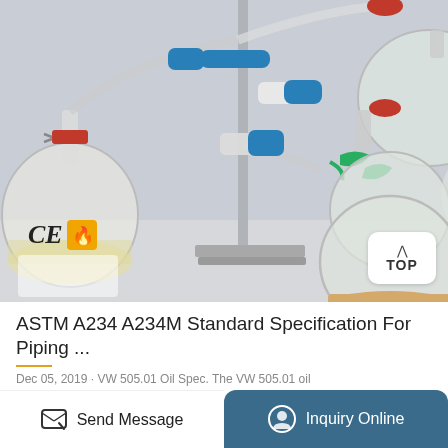[Figure (photo): Laboratory glassware setup: multiple round-bottom flasks connected via glass tubing on a metal stand, with blue and red clamps/stoppers, green spring clamps, and a cork ring base. CE and fire/hazard badge icons visible at bottom left.]
ASTM A234 A234M Standard Specification For Piping ...
Dec 05, 2019 · VW 505.01 Oil Spec. The VW 505.01 oil
Send Message
Inquiry Online